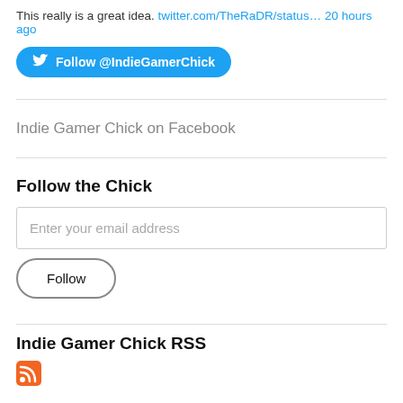This really is a great idea. twitter.com/TheRaDR/status… 20 hours ago
[Figure (other): Twitter Follow button: Follow @IndieGamerChick]
Indie Gamer Chick on Facebook
Follow the Chick
Enter your email address
Follow
Indie Gamer Chick RSS